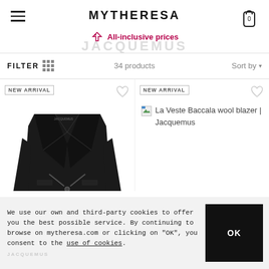MYTHERESA — All-inclusive prices
FILTER  34 products  Sort by
NEW ARRIVAL
[Figure (photo): Black wool blazer from Jacquemus — La Veste Baccala — displayed on a white background]
NEW ARRIVAL
La Veste Baccala wool blazer | Jacquemus
We use our own and third-party cookies to offer you the best possible service. By continuing to browse on mytheresa.com or clicking on "OK", you consent to the use of cookies.